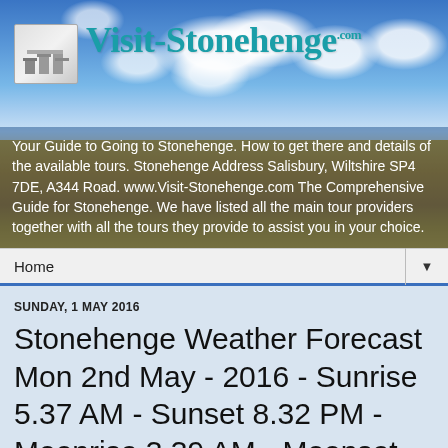[Figure (screenshot): Visit-Stonehenge.com website header banner with blue sky and golden wheat field background, site logo on left, site title 'Visit-Stonehenge.com' in teal, and descriptive text overlay]
Your Guide to Going to Stonehenge. How to get there and details of the available tours. Stonehenge Address Salisbury, Wiltshire SP4 7DE, A344 Road. www.Visit-Stonehenge.com The Comprehensive Guide for Stonehenge. We have listed all the main tour providers together with all the tours they provide to assist you in your choice.
Home ▼
SUNDAY, 1 MAY 2016
Stonehenge Weather Forecast Mon 2nd May - 2016 - Sunrise 5.37 AM - Sunset 8.32 PM - Moonrise 3.39 AM - Moonset 2.52 PM